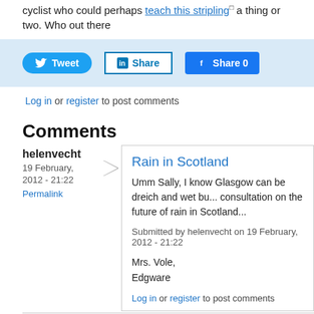cyclist who could perhaps teach this stripling a thing or two. Who out there
[Figure (infographic): Social sharing bar with Tweet, LinkedIn Share, and Facebook Share 0 buttons on a light blue background]
Log in or register to post comments
Comments
helenvecht
19 February, 2012 - 21:22
Permalink
Rain in Scotland
Umm Sally, I know Glasgow can be dreich and wet bu... consultation on the future of rain in Scotland...
Submitted by helenvecht on 19 February, 2012 - 21:22
Mrs. Vole,
Edgware
Log in or register to post comments